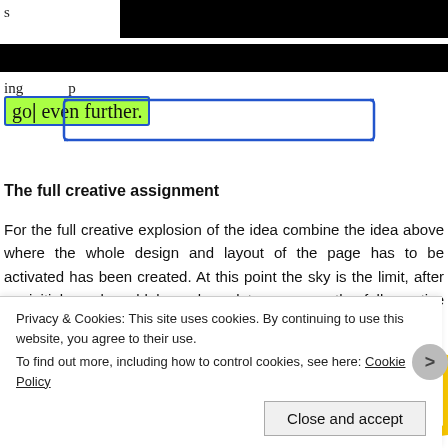s
ing ... p
go even further.
The full creative assignment
For the full creative explosion of the idea combine the idea above where the whole design and layout of the page has to be activated has been created. At this point the sky is the limit, after an initial used could be enlarged to open up the full creative possibilities.
[Figure (screenshot): Yellow hand-drawn frame containing a dark rounded UI element or image, partially visible]
Privacy & Cookies: This site uses cookies. By continuing to use this website, you agree to their use.
To find out more, including how to control cookies, see here: Cookie Policy
Close and accept